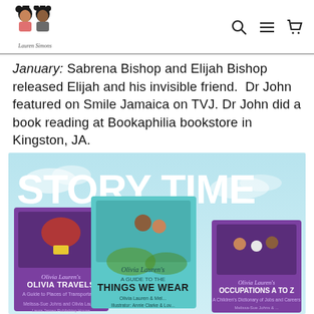Lauren Simons [logo with navigation icons: search, menu, cart]
January: Sabrena Bishop and Elijah Bishop released Elijah and his invisible friend. Dr John featured on Smile Jamaica on TVJ. Dr John did a book reading at Bookaphilia bookstore in Kingston, JA.
[Figure (illustration): Story Time w/ Melissa-Sue promotional image showing three children's book covers: Olivia Lauren's Olivia Travels, Olivia Lauren's A Guide to the Things We Wear, and Olivia Lauren's Occupations A to Z, set against a light blue sky background.]